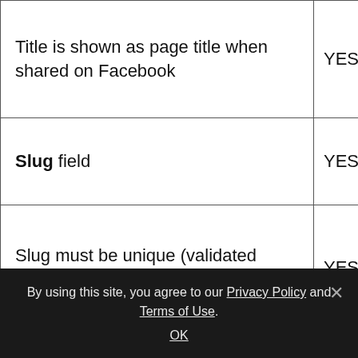| Feature | Supported |
| --- | --- |
| Title is shown as page title when shared on Facebook | YES |
| Slug field | YES |
| Slug must be unique (validated when form was submitted) | YES |
| Slug is formatted automatically via JavaScript when form not yet was submitted | YES |
|  |  |
By using this site, you agree to our Privacy Policy and Terms of Use. OK